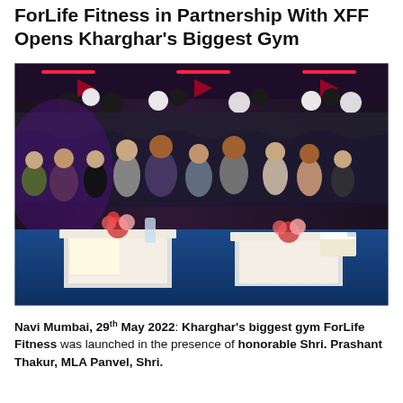ForLife Fitness in Partnership With XFF Opens Kharghar's Biggest Gym
[Figure (photo): Group photo of people standing inside a newly opened gym with decorations, balloons, and flower arrangements on tables at the ForLife Fitness gym opening event.]
Navi Mumbai, 29th May 2022: Kharghar's biggest gym ForLife Fitness was launched in the presence of honorable Shri. Prashant Thakur, MLA Panvel, Shri.